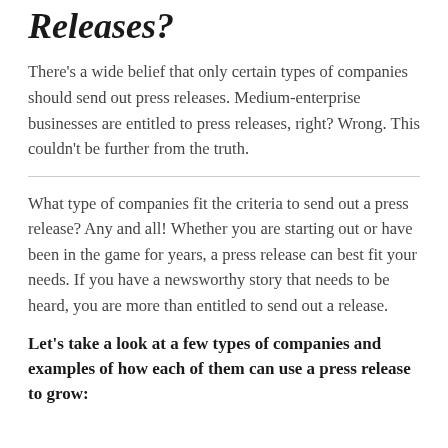Releases?
There's a wide belief that only certain types of companies should send out press releases. Medium-enterprise businesses are entitled to press releases, right? Wrong. This couldn't be further from the truth.
What type of companies fit the criteria to send out a press release? Any and all! Whether you are starting out or have been in the game for years, a press release can best fit your needs. If you have a newsworthy story that needs to be heard, you are more than entitled to send out a release.
Let's take a look at a few types of companies and examples of how each of them can use a press release to grow: